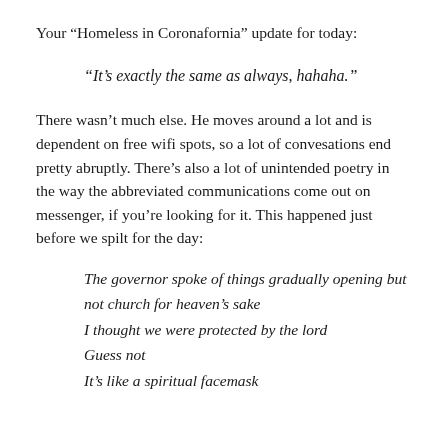Your “Homeless in Coronafornia” update for today:
“It’s exactly the same as always, hahaha.”
There wasn’t much else. He moves around a lot and is dependent on free wifi spots, so a lot of convesations end pretty abruptly. There’s also a lot of unintended poetry in the way the abbreviated communications come out on messenger, if you’re looking for it. This happened just before we spilt for the day:
The governor spoke of things gradually opening but not church for heaven’s sake
I thought we were protected by the lord
Guess not
It’s like a spiritual facemask